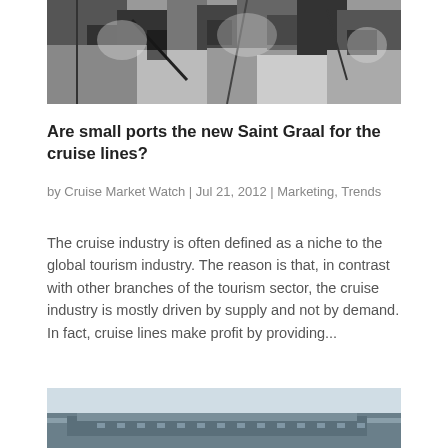[Figure (photo): Black and white close-up illustration or sketch showing hands and figures, high contrast grainy image]
Are small ports the new Saint Graal for the cruise lines?
by Cruise Market Watch | Jul 21, 2012 | Marketing, Trends
The cruise industry is often defined as a niche to the global tourism industry. The reason is that, in contrast with other branches of the tourism sector, the cruise industry is mostly driven by supply and not by demand. In fact, cruise lines make profit by providing...
[Figure (photo): Black and white photo showing the side of a cruise ship against a light sky, viewed from below at an angle]